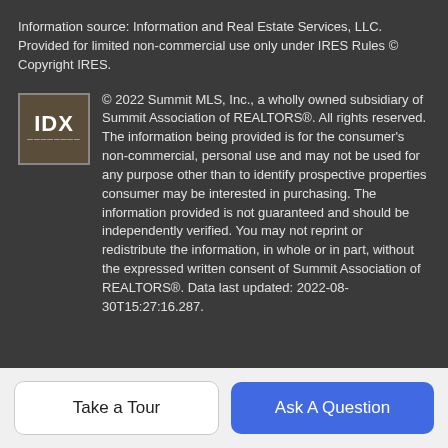Information source: Information and Real Estate Services, LLC. Provided for limited non-commercial use only under IRES Rules © Copyright IRES.
[Figure (logo): IDX logo — white text 'IDX' on dark brown/olive background with border]
© 2022 Summit MLS, Inc., a wholly owned subsidiary of Summit Association of REALTORS®. All rights reserved. The information being provided is for the consumer's non-commercial, personal use and may not be used for any purpose other than to identify prospective properties consumer may be interested in purchasing. The information provided is not guaranteed and should be independently verified. You may not reprint or redistribute the information, in whole or in part, without the expressed written consent of Summit Association of REALTORS®. Data last updated: 2022-08-30T15:27:16.287.
BoomTown!  © 2022
Terms of Use  Privacy Policy  Accessibility  DMCA
Take a Tour
Ask A Question